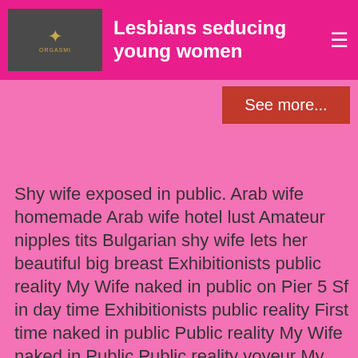Lesbians seducing young women
See more...
Shy wife exposed in public. Arab wife homemade Arab wife hotel lust Amateur nipples tits Bulgarian shy wife lets her beautiful big breast Exhibitionists public reality My Wife naked in public on Pier 5 Sf in day time Exhibitionists public reality First time naked in public Public reality My Wife naked in Public Public reality voyeur My wife naked in public Amateur blowjobs Mexican wife gives Wife exposes herself in public in public bathroom Amateur blowjob handjob Shy wife gives handjob and gets jizz on mouth Amateur clit clitoris Shy wife caught masturbating Cougar exwife housewife Blonde exotic white wife Hidden cams reality Wife masturbating at her desk Amateur car matures Wife fucked in a car husband is filming Asian bizarre